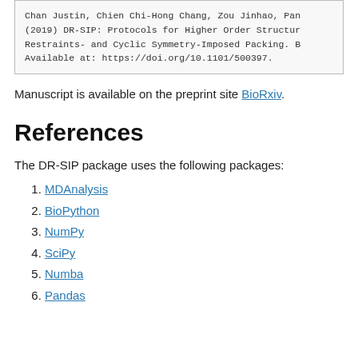Chan Justin, Chien Chi-Hong Chang, Zou Jinhao, Pan (2019) DR-SIP: Protocols for Higher Order Structur Restraints- and Cyclic Symmetry-Imposed Packing. B Available at: https://doi.org/10.1101/500397.
Manuscript is available on the preprint site BioRxiv.
References
The DR-SIP package uses the following packages:
MDAnalysis
BioPython
NumPy
SciPy
Numba
Pandas